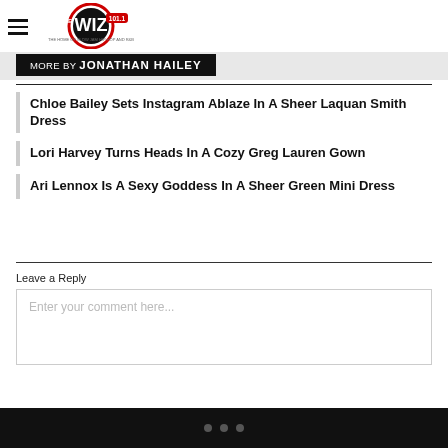THE WIZ 101.1
MORE BY JONATHAN HAILEY
Chloe Bailey Sets Instagram Ablaze In A Sheer Laquan Smith Dress
Lori Harvey Turns Heads In A Cozy Greg Lauren Gown
Ari Lennox Is A Sexy Goddess In A Sheer Green Mini Dress
Leave a Reply
Enter your comment here...